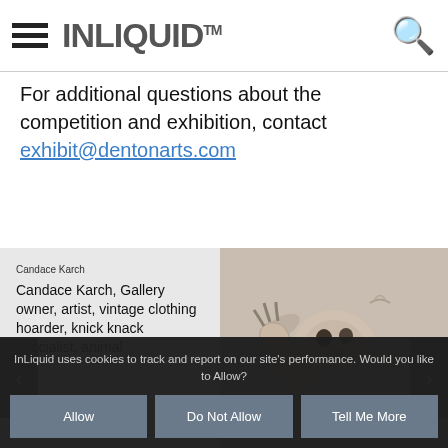INLIQUID™
For additional questions about the competition and exhibition, contact exhibit@dentonarts.com
[Figure (photo): Slider card showing Candace Karch profile text on grey background and a photo of a sculptural sloth figure looking upward with small bird shapes in background]
InLiquid uses cookies to track and report on our site's performance. Would you like to Allow?
Allow | Do Not Allow | Tell Me More